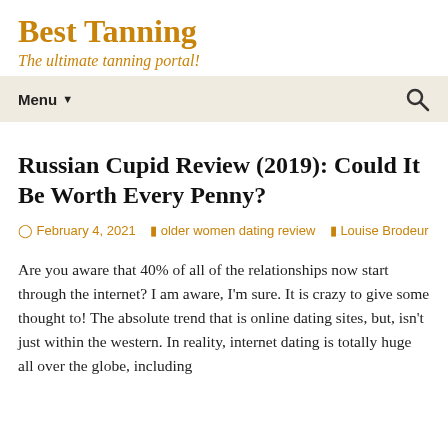Best Tanning
The ultimate tanning portal!
Menu ▼
Russian Cupid Review (2019): Could It Be Worth Every Penny?
February 4, 2021  older women dating review  Louise Brodeur
Are you aware that 40% of all of the relationships now start through the internet? I am aware, I'm sure. It is crazy to give some thought to! The absolute trend that is online dating sites, but, isn't just within the western. In reality, internet dating is totally huge all over the globe, including